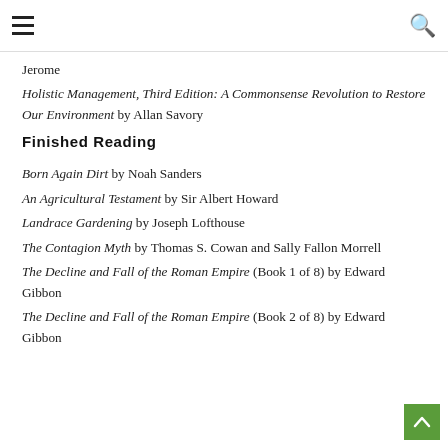[hamburger menu] [search icon]
Jerome
Holistic Management, Third Edition: A Commonsense Revolution to Restore Our Environment by Allan Savory
Finished Reading
Born Again Dirt by Noah Sanders
An Agricultural Testament by Sir Albert Howard
Landrace Gardening by Joseph Lofthouse
The Contagion Myth by Thomas S. Cowan and Sally Fallon Morrell
The Decline and Fall of the Roman Empire (Book 1 of 8) by Edward Gibbon
The Decline and Fall of the Roman Empire (Book 2 of 8) by Edward Gibbon